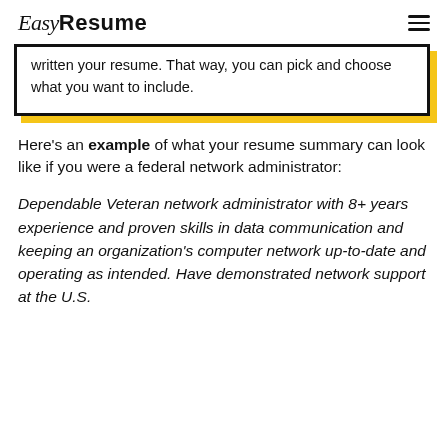Easy Resume
written your resume. That way, you can pick and choose what you want to include.
Here's an example of what your resume summary can look like if you were a federal network administrator:
Dependable Veteran network administrator with 8+ years experience and proven skills in data communication and keeping an organization's computer network up-to-date and operating as intended. Have demonstrated network support at the U.S.